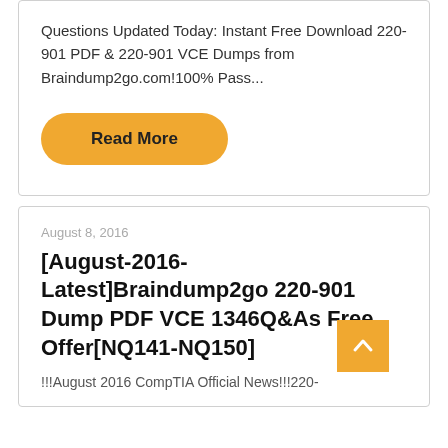Questions Updated Today: Instant Free Download 220-901 PDF & 220-901 VCE Dumps from Braindump2go.com!100% Pass...
[Figure (other): Orange rounded button labeled 'Read More']
August 8, 2016
[August-2016-Latest]Braindump2go 220-901 Dump PDF VCE 1346Q&As Free Offer[NQ141-NQ150]
!!!August 2016 CompTIA Official News!!!220-